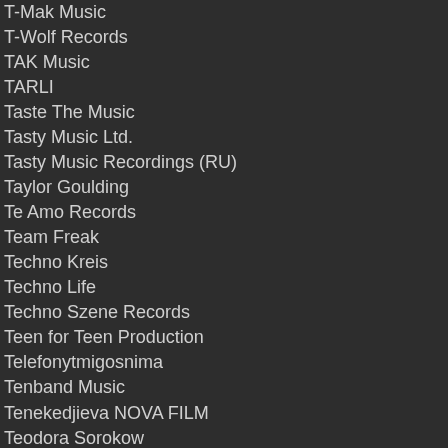T-Mak Music
T-Wolf Records
TAK Music
TARLI
Taste The Music
Tasty Music Ltd.
Tasty Music Recordings (RU)
Taylor Goulding
Te Amo Records
Team Freak
Techno Kreis
Techno Life
Techno Szene Records
Teen for Teen Production
Telefonytmigosnima
Tenband Music
Tenekedjieva NOVA FILM
Teodora Sorokow
Test
ThatzDatHeat Productions
The Bodhi Tree Recordings
The Editor Music
The Fusion Room Records